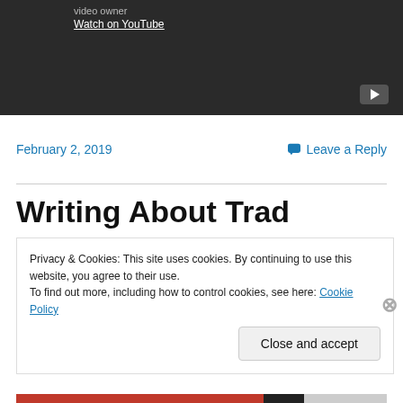[Figure (screenshot): YouTube video embed area with dark background, 'video owner' text, 'Watch on YouTube' link, and a play button icon in the bottom-right corner.]
February 2, 2019
Leave a Reply
Writing About Trad
Privacy & Cookies: This site uses cookies. By continuing to use this website, you agree to their use.
To find out more, including how to control cookies, see here: Cookie Policy
Close and accept